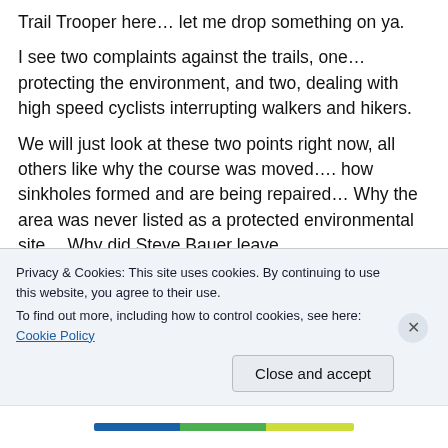Trail Trooper here… let me drop something on ya.
I see two complaints against the trails, one… protecting the environment, and two, dealing with high speed cyclists interrupting walkers and hikers.
We will just look at these two points right now, all others like why the course was moved…. how sinkholes formed and are being repaired… Why the area was never listed as a protected environmental site… Why did Steve Bauer leave
Privacy & Cookies: This site uses cookies. By continuing to use this website, you agree to their use.
To find out more, including how to control cookies, see here: Cookie Policy
Close and accept